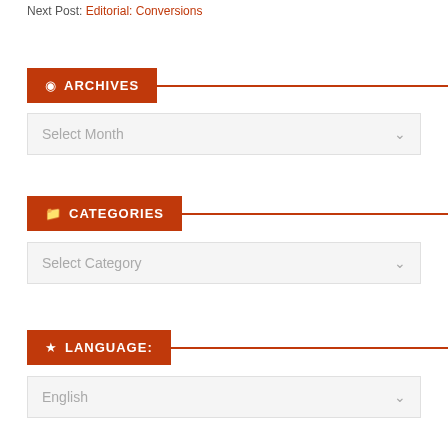Next Post: Editorial: Conversions
ARCHIVES
[Figure (screenshot): Select Month dropdown widget]
CATEGORIES
[Figure (screenshot): Select Category dropdown widget]
LANGUAGE:
[Figure (screenshot): English language dropdown widget]